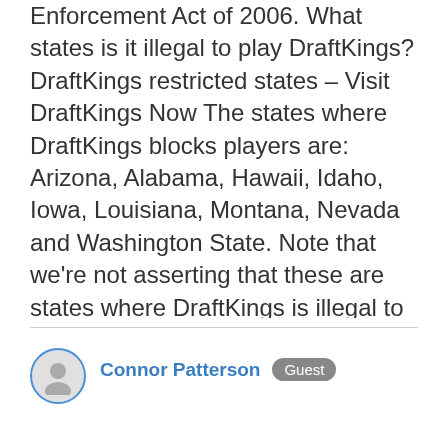Enforcement Act of 2006. What states is it illegal to play DraftKings? DraftKings restricted states – Visit DraftKings Now The states where DraftKings blocks players are: Arizona, Alabama, Hawaii, Idaho, Iowa, Louisiana, Montana, Nevada and Washington State. Note that we're not asserting that these are states where DraftKings is illegal to play. How much does DraftKings make a year? A report from Eilers & Krejcik Gaming estimated handle for all operators, everywhere, for the calendar year in 2016 at about $3.2 billion as well. Revenue for last year was roughly $350 million, according to that same estimate. Is Daily Fantasy legal? Playing daily fantasy for money is legal by federal…
Connor Patterson  Guest